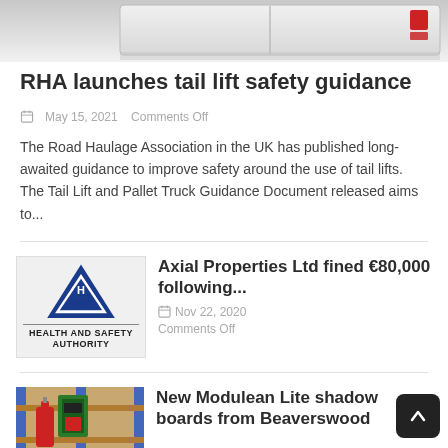[Figure (photo): Partial rear view of a white van on a light grey background, cropped at top]
RHA launches tail lift safety guidance
May 15, 2021   Comments Off
The Road Haulage Association in the UK has published long-awaited guidance to improve safety around the use of tail lifts. The Tail Lift and Pallet Truck Guidance Document released aims to...
[Figure (logo): Health and Safety Authority (HSA) logo — blue triangle with H, S&A text inside]
Axial Properties Ltd fined €80,000 following...
Nov 22, 2020   Comments Off
[Figure (photo): Warehouse shelves with safety equipment including a fire extinguisher and shadow boards]
New Modulean Lite shadow boards from Beaverswood